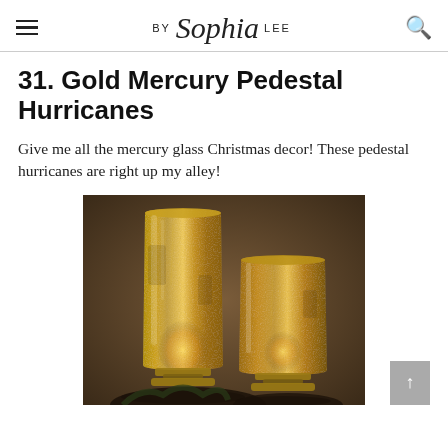BY Sophia LEE
31. Gold Mercury Pedestal Hurricanes
Give me all the mercury glass Christmas decor! These pedestal hurricanes are right up my alley!
[Figure (photo): Two gold mercury glass pedestal hurricane candle holders on a dark background, glowing with warm candlelight inside. One is taller than the other.]